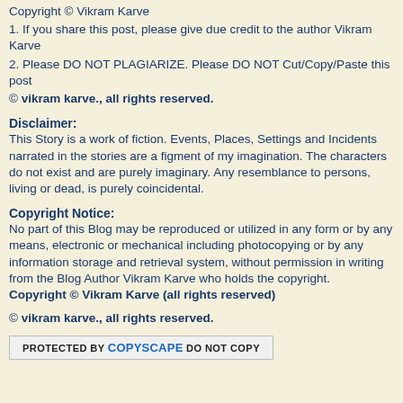Copyright © Vikram Karve
1. If you share this post, please give due credit to the author Vikram Karve
2. Please DO NOT PLAGIARIZE. Please DO NOT Cut/Copy/Paste this post
© vikram karve., all rights reserved.
Disclaimer:
This Story is a work of fiction. Events, Places, Settings and Incidents narrated in the stories are a figment of my imagination. The characters do not exist and are purely imaginary. Any resemblance to persons, living or dead, is purely coincidental.
Copyright Notice:
No part of this Blog may be reproduced or utilized in any form or by any means, electronic or mechanical including photocopying or by any information storage and retrieval system, without permission in writing from the Blog Author Vikram Karve who holds the copyright.
Copyright © Vikram Karve (all rights reserved)
© vikram karve., all rights reserved.
[Figure (other): Copyscape protection badge: PROTECTED BY COPYSCAPE DO NOT COPY]